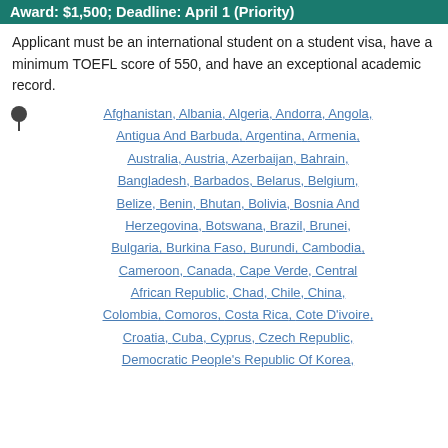Award: $1,500; Deadline: April 1 (Priority)
Applicant must be an international student on a student visa, have a minimum TOEFL score of 550, and have an exceptional academic record.
Afghanistan, Albania, Algeria, Andorra, Angola, Antigua And Barbuda, Argentina, Armenia, Australia, Austria, Azerbaijan, Bahrain, Bangladesh, Barbados, Belarus, Belgium, Belize, Benin, Bhutan, Bolivia, Bosnia And Herzegovina, Botswana, Brazil, Brunei, Bulgaria, Burkina Faso, Burundi, Cambodia, Cameroon, Canada, Cape Verde, Central African Republic, Chad, Chile, China, Colombia, Comoros, Costa Rica, Cote D'ivoire, Croatia, Cuba, Cyprus, Czech Republic, Democratic People's Republic Of Korea,